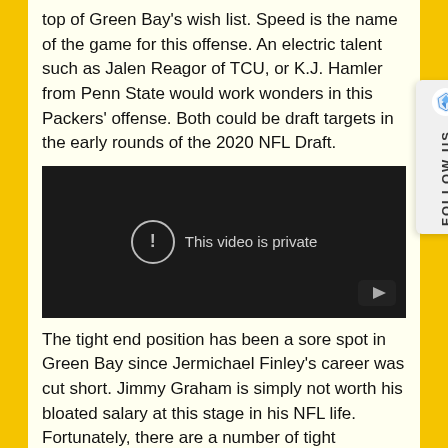top of Green Bay's wish list. Speed is the name of the game for this offense. An electric talent such as Jalen Reagor of TCU, or K.J. Hamler from Penn State would work wonders in this Packers' offense. Both could be draft targets in the early rounds of the 2020 NFL Draft.
[Figure (screenshot): Embedded video player showing 'This video is private' message with exclamation icon on dark background]
The tight end position has been a sore spot in Green Bay since Jermichael Finley's career was cut short. Jimmy Graham is simply not worth his bloated salary at this stage in his NFL life. Fortunately, there are a number of tight